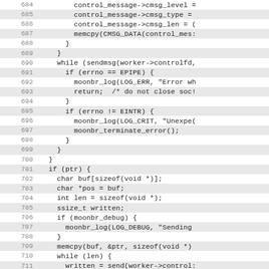[Figure (screenshot): Source code listing showing lines 684-711 of a C program. Lines alternate between shaded and unshaded backgrounds. Code includes control message assignments, memcpy calls, sendmsg loop with errno checks, and pointer handling with send operations.]